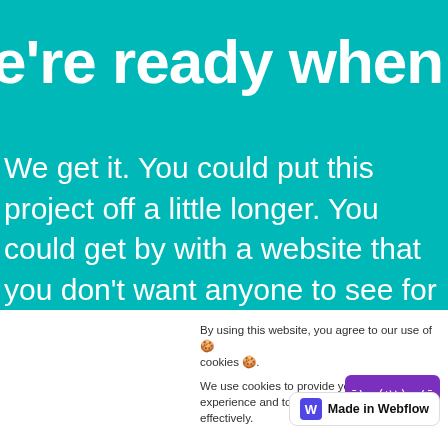e're ready when yo
We get it. You could put this project off a little longer. You could get by with a website that you don't want anyone to see for a little while longer...or you can
By using this website, you agree to our use of 🍪 cookies 🍪.
We use cookies to provide you with a great experience and to help our website run effectively.
[Figure (other): Purple button with shruggie emoticon ¯\_(ツ)_/¯]
[Figure (logo): Made in Webflow badge with blue W logo]